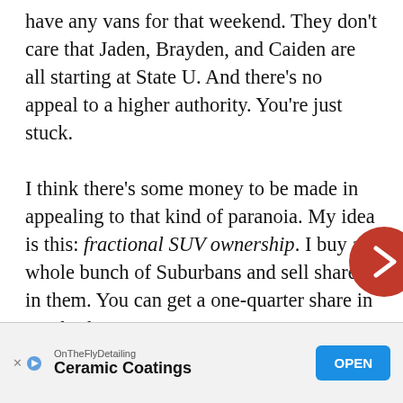have any vans for that weekend. They don't care that Jaden, Brayden, and Caiden are all starting at State U. And there's no appeal to a higher authority. You're just stuck.

I think there's some money to be made in appealing to that kind of paranoia. My idea is this: fractional SUV ownership. I buy a whole bunch of Suburbans and sell shares in them. You can get a one-quarter share in a Suburban LS for, oh, I don't know, five hundred bucks a month. Then you go online with my system and lay out when you'll need a Suburban. I'll guara[ntee tha]t when you need a [Suburban] he
[Figure (other): Red circular navigation arrow button pointing right]
[Figure (other): Advertisement banner: OnTheFlyDetailing - Ceramic Coatings - OPEN button]